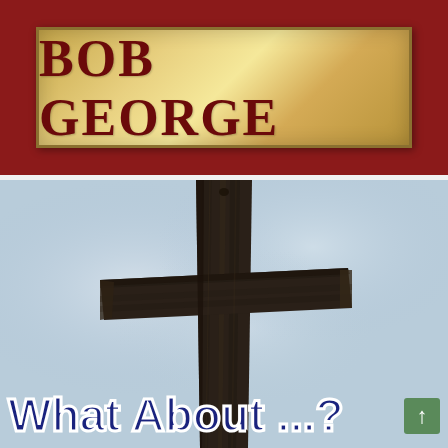BOB GEORGE
[Figure (photo): A large wooden cross photographed from below against a cloudy grey-blue sky. The cross is made of rough-hewn dark wood timbers.]
What About ...?